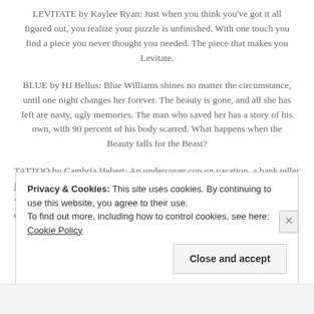LEVITATE by Kaylee Ryan: Just when you think you've got it all figured out, you realize your puzzle is unfinished. With one touch you find a piece you never thought you needed. The piece that makes you Levitate.
BLUE by HJ Bellus: Blue Williams shines no matter the circumstance, until one night changes her forever. The beauty is gone, and all she has left are nasty, ugly memories. The man who saved her has a story of his own, with 90 percent of his body scarred. What happens when the Beauty falls for the Beast?
TATTOO by Cambria Hebert: An undercover cop on vacation, a bank teller just doing her job, and a group of bank robbers waiving a gun around. Just when Brody and Taylor think they'll make it out a tattoo changes everything.
Privacy & Cookies: This site uses cookies. By continuing to use this website, you agree to their use.
To find out more, including how to control cookies, see here: Cookie Policy